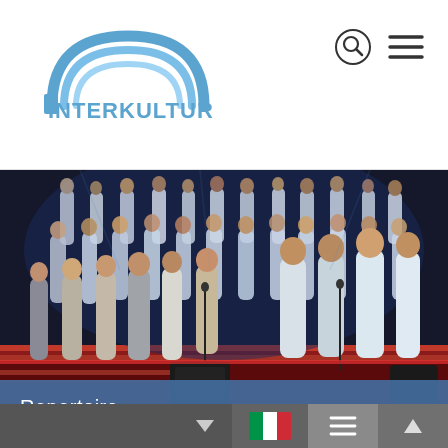[Figure (logo): Interkultur logo with rainbow arc above text]
[Figure (photo): Large choir performing on stage, singers in white and grey dresses on a red-lit stage with dramatic blue lighting]
Repertoire
Navigation bar with Italian flag, menu icon, down arrow, and up arrow